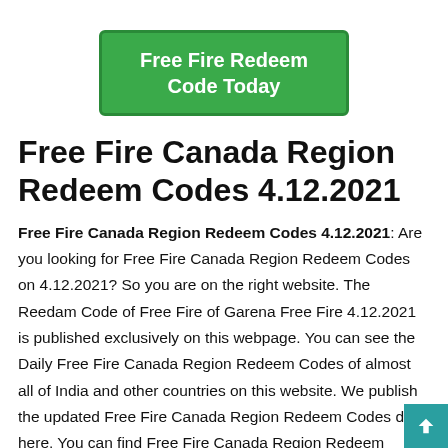Free Fire Redeem Code Today
Free Fire Canada Region Redeem Codes 4.12.2021
Free Fire Canada Region Redeem Codes 4.12.2021: Are you looking for Free Fire Canada Region Redeem Codes on 4.12.2021? So you are on the right website. The Reedam Code of Free Fire of Garena Free Fire 4.12.2021 is published exclusively on this webpage. You can see the Daily Free Fire Canada Region Redeem Codes of almost all of India and other countries on this website. We publish the updated Free Fire Canada Region Redeem Codes daily here. You can find Free Fire Canada Region Redeem Codes 4 December 2021 here. The Redeem Codes of the Garena Free Fire 4 December 2021 are above. You can just check it or Redeem Codes of Free Fire on their Free Fire Official Site.